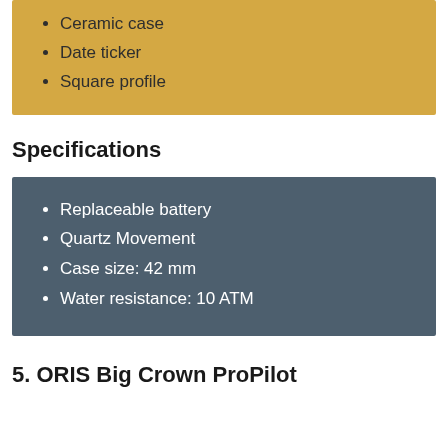Ceramic case
Date ticker
Square profile
Specifications
Replaceable battery
Quartz Movement
Case size: 42 mm
Water resistance: 10 ATM
5. ORIS Big Crown ProPilot